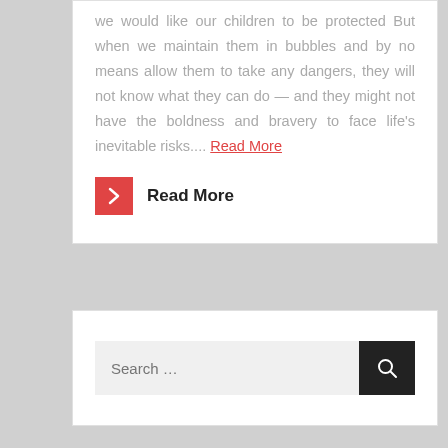we would like our children to be protected But when we maintain them in bubbles and by no means allow them to take any dangers, they will not know what they can do — and they might not have the boldness and bravery to face life's inevitable risks.... Read More
Read More
Search …